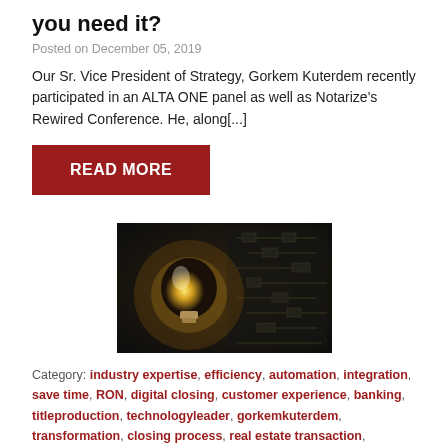you need it?
Posted on December 05, 2019
Our Sr. Vice President of Strategy, Gorkem Kuterdem recently participated in an ALTA ONE panel as well as Notarize's Rewired Conference. He, along[...]
READ MORE
[Figure (photo): A glowing light bulb against a dark circuit board background]
Category: industry expertise, efficiency, automation, integration, save time, RON, digital closing, customer experience, banking, titleproduction, technologyleader, gorkemkuterdem, transformation, closing process, real estate transaction, innovation, signing, competitive advantage, fintech